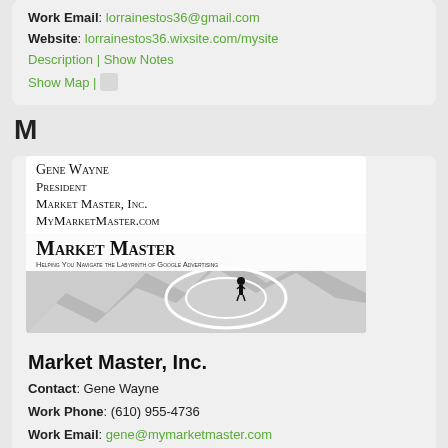Work Email: lorrainestos36@gmail.com
Website: lorrainestos36.wixsite.com/mysite
Description | Show Notes
Show Map |
M
[Figure (photo): Business card for Gene Wayne, President of Market Master, Inc. showing a maze with a person navigating it and text 'Market Master - Helping You Navigate the Labyrinth of Google Advertising']
Market Master, Inc.
Contact: Gene Wayne
Work Phone: (610) 955-4736
Work Email: gene@mymarketmaster.com
Website: https://mymarketmaster.com